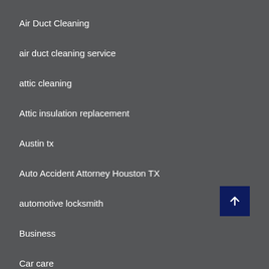Air Duct Cleaning
air duct cleaning service
attic cleaning
Attic insulation replacement
Austin tx
Auto Accident Attorney Houston TX
automotive locksmith
Business
Car care